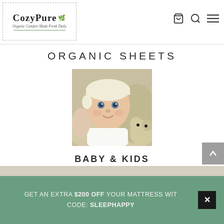CozyPure — Organic Comfort Made Fresh Daily
ORGANIC SHEETS
[Figure (photo): A smiling baby with blue eyes wearing a white hat, lying on soft organic bedding with a stuffed animal beside them.]
BABY & KIDS
GET AN EXTRA $200 OFF YOUR MATTRESS WITH CODE: SLEEPHAPPY